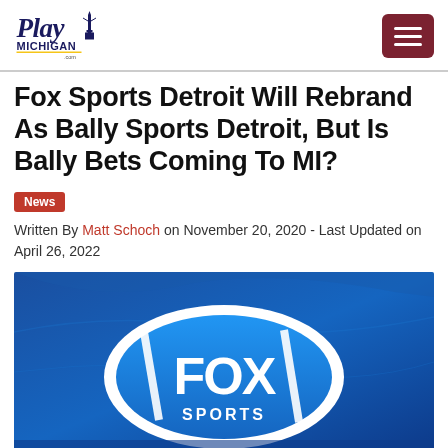PlayMichigan.com
Fox Sports Detroit Will Rebrand As Bally Sports Detroit, But Is Bally Bets Coming To MI?
News
Written By Matt Schoch on November 20, 2020 - Last Updated on April 26, 2022
[Figure (photo): Fox Sports logo on blue fabric background]